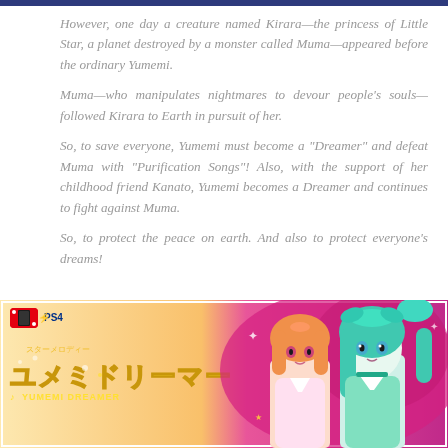However, one day a creature named Kirara—the princess of Little Star, a planet destroyed by a monster called Muma—appeared before the ordinary Yumemi.
Muma—who manipulates nightmares to devour people's souls—followed Kirara to Earth in pursuit of her.
So, to save everyone, Yumemi must become a "Dreamer" and defeat Muma with "Purification Songs"! Also, with the support of her childhood friend Kanato, Yumemi becomes a Dreamer and continues to fight against Muma.
So, to protect the peace on earth. And also to protect everyone's dreams!
[Figure (illustration): Yumemi Dreamer game cover art showing two anime girls and the game logo with Nintendo Switch and PS4 platform icons]